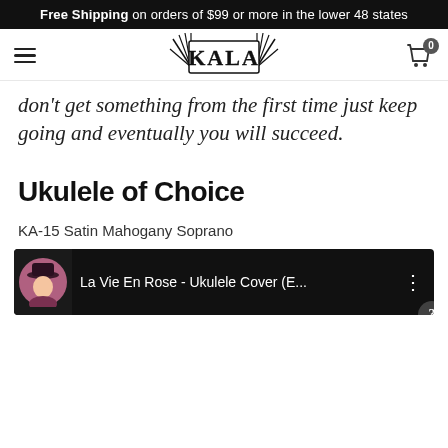Free Shipping on orders of $99 or more in the lower 48 states
[Figure (logo): KALA brand logo with stylized text and palm-leaf decorative elements]
don't get something from the first time just keep going and eventually you will succeed.
Ukulele of Choice
KA-15 Satin Mahogany Soprano
[Figure (screenshot): Video thumbnail showing 'La Vie En Rose - Ukulele Cover (E...' with a circular avatar of a person playing ukulele wearing a hat, on dark background with menu dots icon]